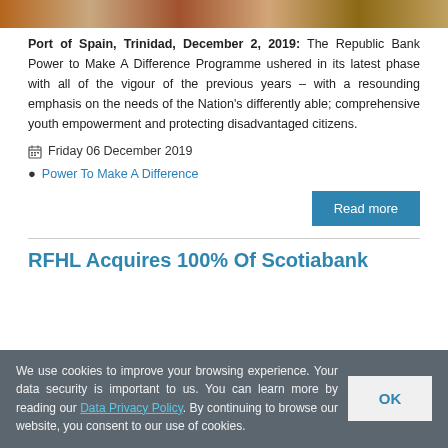[Figure (photo): Horizontal strip photo at top of page, showing people, cropped to a narrow band]
Port of Spain, Trinidad, December 2, 2019: The Republic Bank Power to Make A Difference Programme ushered in its latest phase with all of the vigour of the previous years – with a resounding emphasis on the needs of the Nation's differently able; comprehensive youth empowerment and protecting disadvantaged citizens.
Friday 06 December 2019
Power To Make A Difference
Read more
RFHL Acquires 100% Of Scotiabank
We use cookies to improve your browsing experience. Your data security is important to us. You can learn more by reading our Data Privacy Policy. By continuing to browse our website, you consent to our use of cookies.